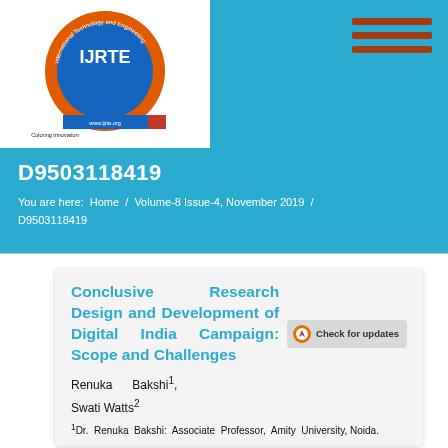[Figure (logo): IJRTE journal logo with circular design, orange ring, blue center with IJRTE text, website URL at bottom]
D9503118419
You are here: Home / Volume-8 Issue-4, November 2019 / D9503118419
Conclusive Research Design and Development of Digital India Campaign: Scope and Challenges
Renuka Bakshi¹, Swati Watts²
¹Dr. Renuka Bakshi: Associate Professor, Amity University, Noida.